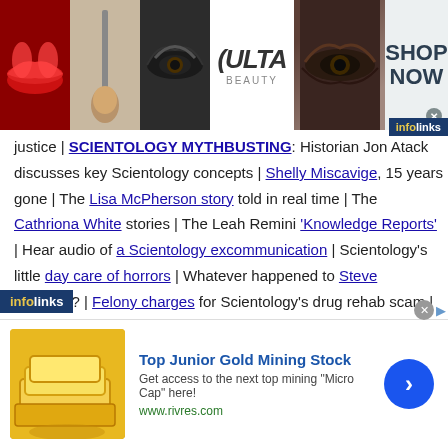[Figure (screenshot): Top banner advertisement for ULTA beauty with images of lips with red lipstick, makeup brush, smoky eye, ULTA logo, glamorous eye makeup, and SHOP NOW text with close button]
justice | SCIENTOLOGY MYTHBUSTING: Historian Jon Atack discusses key Scientology concepts | Shelly Miscavige, 15 years gone | The Lisa McPherson story told in real time | The Cathriona White stories | The Leah Remini 'Knowledge Reports' | Hear audio of a Scientology excommunication | Scientology's little day care of horrors | Whatever happened to Steve Fishman? | Felony charges for Scientology's drug rehab scam | Why Scientology digs bomb-proof vaults in the desert | PZ Myers reads L. Ron Hubbard's "A History of Man" | Scientology's Master Spies | The mystery of the richest
[Figure (screenshot): Infolinks badge bottom left]
[Figure (screenshot): Bottom advertisement for Top Junior Gold Mining Stock from www.rivres.com with gold bar image and blue arrow button]